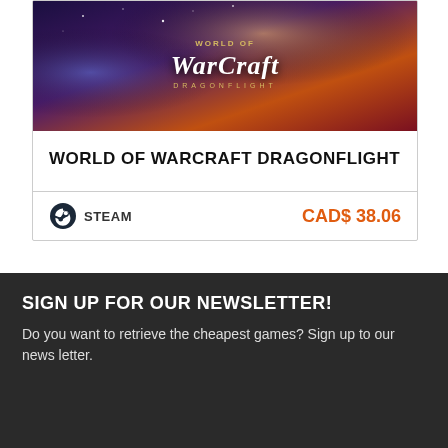[Figure (illustration): World of Warcraft Dragonflight game cover art showing fantasy characters, dragons, and magical scenery with the game logo overlay]
WORLD OF WARCRAFT DRAGONFLIGHT
STEAM   CAD$ 38.06
SIGN UP FOR OUR NEWSLETTER!
Do you want to retrieve the cheapest games? Sign up to our news letter.